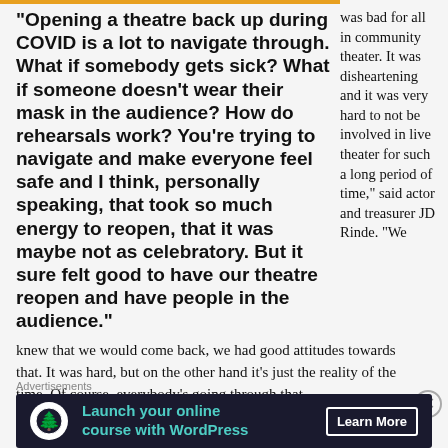“Opening a theatre back up during COVID is a lot to navigate through. What if somebody gets sick? What if someone doesn’t wear their mask in the audience? How do rehearsals work? You’re trying to navigate and make everyone feel safe and I think, personally speaking, that took so much energy to reopen, that it was maybe not as celebratory. But it sure felt good to have our theatre reopen and have people in the audience.”
was bad for all in community theater. It was disheartening and it was very hard to not be involved in live theater for such a long period of time,” said actor and treasurer JD Rinde. “We knew that we would come back, we had good attitudes towards that. It was hard, but on the other hand it’s just the reality of the time. Of course, everybody’s going through that,
Advertisements
[Figure (other): Advertisement banner: Launch your online course with WordPress. Learn More button. Dark navy background with teal text and white circle icon.]